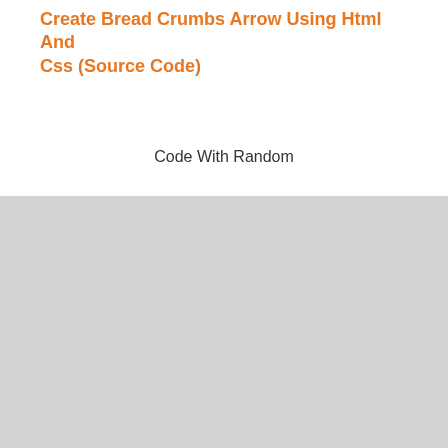Create Bread Crumbs Arrow Using Html And Css (Source Code)
Code With Random
[Figure (other): Gray rectangular area occupying the lower half of the page]